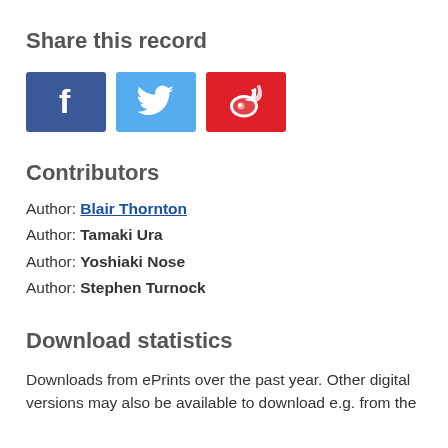Share this record
[Figure (infographic): Three social share buttons: Facebook (blue), Twitter (light blue), Weibo (red)]
Contributors
Author: Blair Thornton
Author: Tamaki Ura
Author: Yoshiaki Nose
Author: Stephen Turnock
Download statistics
Downloads from ePrints over the past year. Other digital versions may also be available to download e.g. from the